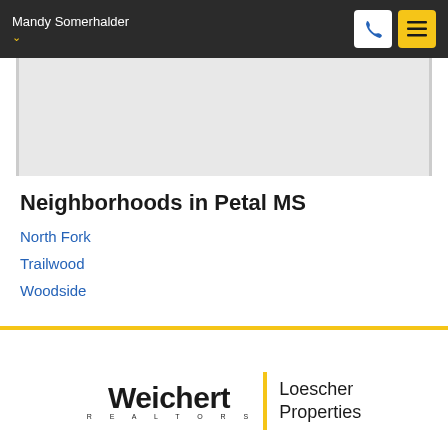Mandy Somerhalder
[Figure (map): Gray map area showing a geographic region]
Neighborhoods in Petal MS
North Fork
Trailwood
Woodside
[Figure (logo): Weichert Realtors | Loescher Properties logo]